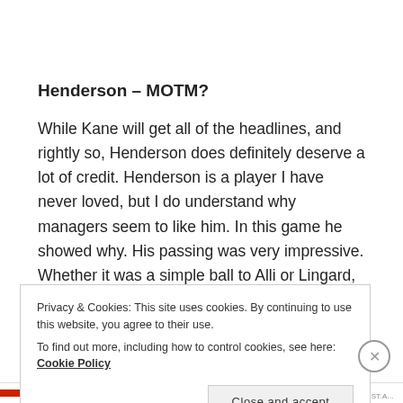Henderson – MOTM?
While Kane will get all of the headlines, and rightly so, Henderson does definitely deserve a lot of credit. Henderson is a player I have never loved, but I do understand why managers seem to like him. In this game he showed why. His passing was very impressive. Whether it was a simple ball to Alli or Lingard, or a
Privacy & Cookies: This site uses cookies. By continuing to use this website, you agree to their use.
To find out more, including how to control cookies, see here: Cookie Policy
Close and accept